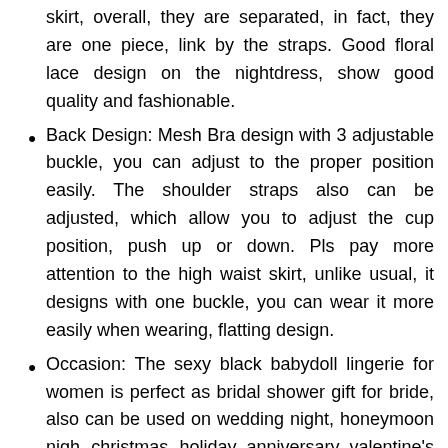skirt, overall, they are separated, in fact, they are one piece, link by the straps. Good floral lace design on the nightdress, show good quality and fashionable.
Back Design: Mesh Bra design with 3 adjustable buckle, you can adjust to the proper position easily. The shoulder straps also can be adjusted, which allow you to adjust the cup position, push up or down. Pls pay more attention to the high waist skirt, unlike usual, it designs with one buckle, you can wear it more easily when wearing, flatting design.
Occasion: The sexy black babydoll lingerie for women is perfect as bridal shower gift for bride, also can be used on wedding night, honeymoon nigh, christmas, holiday, anniversary, valentine's day, lingerie party, bachelorette party, boudoir photo shoot.
Package: 1 pcs lace babydoll lingerie for women +